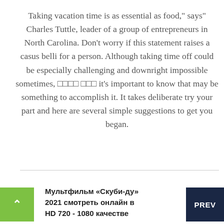Taking vacation time is as essential as food," says" Charles Tuttle, leader of a group of entrepreneurs in North Carolina. Don't worry if this statement raises a casus belli for a person. Although taking time off could be especially challenging and downright impossible sometimes, □□□□ □□□ it's important to know that may be something to accomplish it. It takes deliberate try your part and here are several simple suggestions to get you began.
Мультфильм «Скуби-ду» 2021 смотреть онлайн в HD 720 - 1080 качестве